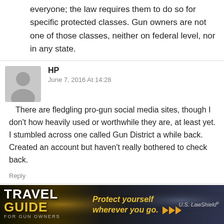everyone; the law requires them to do so for specific protected classes. Gun owners are not one of those classes, neither on federal level, nor in any state.
HP
June 7, 2016 At 14:28
There are fledgling pro-gun social media sites, though I don't how heavily used or worthwhile they are, at least yet. I stumbled across one called Gun District a while back. Created an account but haven't really bothered to check back.
Reply
[Figure (infographic): Travel Guide For Gun Owners advertisement banner with text 'Protect yourself wherever you go.' and US LawShield branding, dark background with gold/yellow text.]